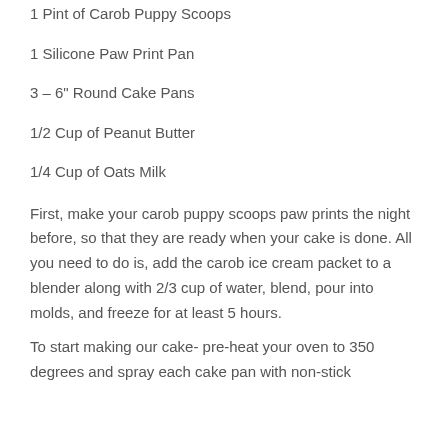1 Pint of Carob Puppy Scoops
1 Silicone Paw Print Pan
3 – 6" Round Cake Pans
1/2 Cup of Peanut Butter
1/4 Cup of Oats Milk
First, make your carob puppy scoops paw prints the night before, so that they are ready when your cake is done. All you need to do is, add the carob ice cream packet to a blender along with 2/3 cup of water, blend, pour into molds, and freeze for at least 5 hours.
To start making our cake- pre-heat your oven to 350 degrees and spray each cake pan with non-stick